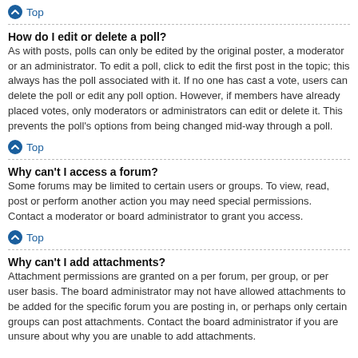⬆ Top
How do I edit or delete a poll?
As with posts, polls can only be edited by the original poster, a moderator or an administrator. To edit a poll, click to edit the first post in the topic; this always has the poll associated with it. If no one has cast a vote, users can delete the poll or edit any poll option. However, if members have already placed votes, only moderators or administrators can edit or delete it. This prevents the poll's options from being changed mid-way through a poll.
⬆ Top
Why can't I access a forum?
Some forums may be limited to certain users or groups. To view, read, post or perform another action you may need special permissions. Contact a moderator or board administrator to grant you access.
⬆ Top
Why can't I add attachments?
Attachment permissions are granted on a per forum, per group, or per user basis. The board administrator may not have allowed attachments to be added for the specific forum you are posting in, or perhaps only certain groups can post attachments. Contact the board administrator if you are unsure about why you are unable to add attachments.